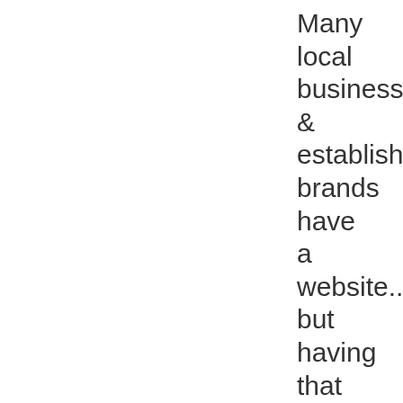Many local businesses & established brands have a website... but having that website is simply not enough